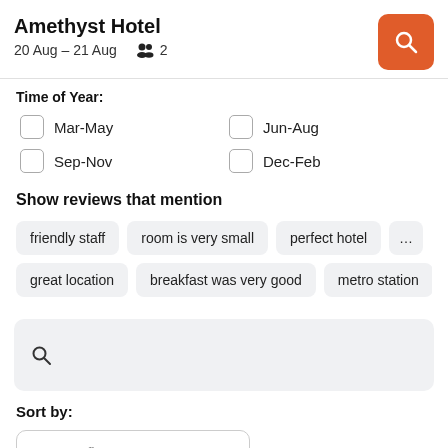Amethyst Hotel
20 Aug – 21 Aug   2
Time of Year:
Mar-May
Jun-Aug
Sep-Nov
Dec-Feb
Show reviews that mention
friendly staff
room is very small
perfect hotel
great location
breakfast was very good
metro station
Sort by:
Newest first